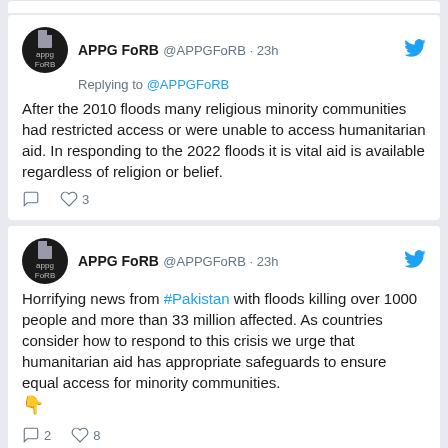[Figure (screenshot): Two tweets from APPG FoRB (@APPGFoRB) posted 23h ago. First tweet replies to @APPGFoRB about 2010 floods and religious minority communities having restricted access to humanitarian aid, urging equal access regardless of religion in 2022 floods. Second tweet about horrifying news from #Pakistan with floods killing over 1000 people and more than 33 million affected, urging safeguards for equal access for minority communities.]